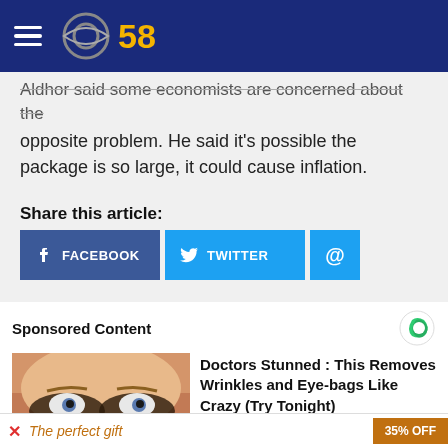CBS 58
Aldhor said some economists are concerned about the opposite problem. He said it's possible the package is so large, it could cause inflation.
Share this article:
[Figure (infographic): Social share buttons: Facebook, Twitter, and email (@)]
Sponsored Content
[Figure (photo): Advertisement photo showing woman with eye treatment]
Doctors Stunned : This Removes Wrinkles and Eye-bags Like Crazy (Try Tonight)
TRENDING STORIES
[Figure (infographic): Bottom advertisement bar: The perfect gift 35% OFF]